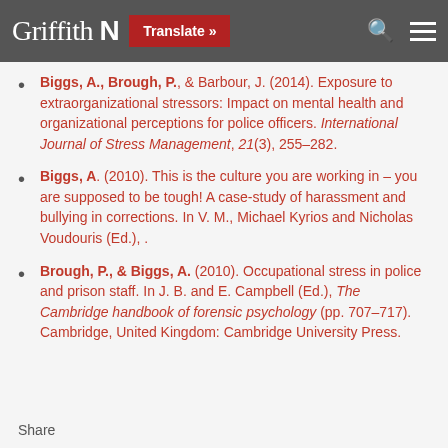Griffith N | Translate » | [search] [menu]
Biggs, A., Brough, P., & Barbour, J. (2014). Exposure to extraorganizational stressors: Impact on mental health and organizational perceptions for police officers. International Journal of Stress Management, 21(3), 255–282.
Biggs, A. (2010). This is the culture you are working in – you are supposed to be tough! A case-study of harassment and bullying in corrections. In V. M., Michael Kyrios and Nicholas Voudouris (Ed.), .
Brough, P., & Biggs, A. (2010). Occupational stress in police and prison staff. In J. B. and E. Campbell (Ed.), The Cambridge handbook of forensic psychology (pp. 707–717). Cambridge, United Kingdom: Cambridge University Press.
Share